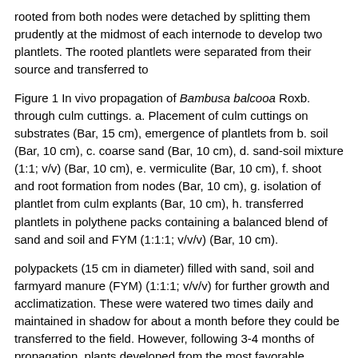rooted from both nodes were detached by splitting them prudently at the midmost of each internode to develop two plantlets. The rooted plantlets were separated from their source and transferred to
Figure 1 In vivo propagation of Bambusa balcooa Roxb. through culm cuttings. a. Placement of culm cuttings on substrates (Bar, 15 cm), emergence of plantlets from b. soil (Bar, 10 cm), c. coarse sand (Bar, 10 cm), d. sand-soil mixture (1:1; v/v) (Bar, 10 cm), e. vermiculite (Bar, 10 cm), f. shoot and root formation from nodes (Bar, 10 cm), g. isolation of plantlet from culm explants (Bar, 10 cm), h. transferred plantlets in polythene packs containing a balanced blend of sand and soil and FYM (1:1:1; v/v/v) (Bar, 10 cm).
polypackets (15 cm in diameter) filled with sand, soil and farmyard manure (FYM) (1:1:1; v/v/v) for further growth and acclimatization. These were watered two times daily and maintained in shadow for about a month before they could be transferred to the field. However, following 3-4 months of propagation, plants developed from the most favorable substrate were used for the field assessment experiment.